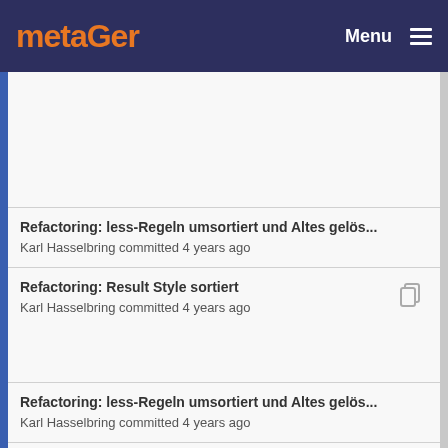metaGer — Menu
Refactoring: less-Regeln umsortiert und Altes gelös...
Karl Hasselbring committed 4 years ago
Refactoring: Result Style sortiert
Karl Hasselbring committed 4 years ago
Refactoring: less-Regeln umsortiert und Altes gelös...
Karl Hasselbring committed 4 years ago
Refactoring: Result Style sortiert
Karl Hasselbring committed 4 years ago